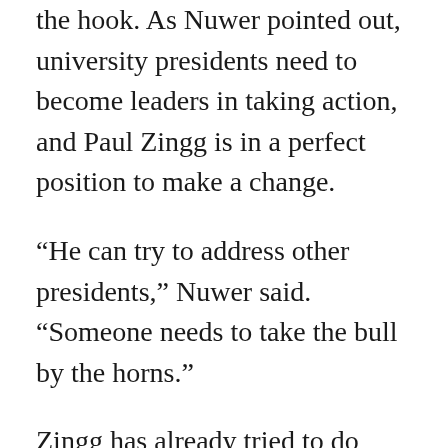the hook. As Nuwer pointed out, university presidents need to become leaders in taking action, and Paul Zingg is in a perfect position to make a change.
“He can try to address other presidents,” Nuwer said. “Someone needs to take the bull by the horns.”
Zingg has already tried to do that. Himself a fraternity member in college (Sigma Phi Epsilon), he addressed Chico’s Greek community on Feb. 20,